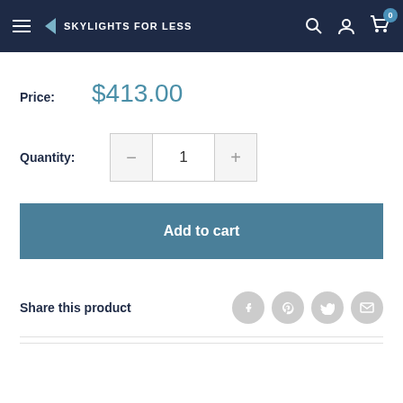SKYLIGHTS FOR LESS
Price: $413.00
Quantity: 1
Add to cart
Share this product